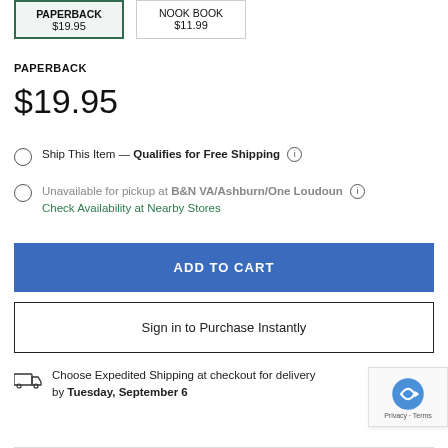PAPERBACK $19.95 | NOOK BOOK $11.99
PAPERBACK
$19.95
Ship This Item — Qualifies for Free Shipping
Unavailable for pickup at B&N VA/Ashburn/One Loudoun — Check Availability at Nearby Stores
ADD TO CART
Sign in to Purchase Instantly
Choose Expedited Shipping at checkout for delivery by Tuesday, September 6